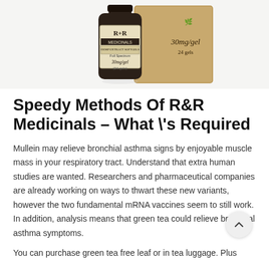[Figure (photo): Product photo of R+R Medicinals Hemp Extract Softgels bottle (30mg/gel, 24 gels) and its cardboard box packaging, showing label with brand name R+R Medicinals, Hemp Extract Softgels, Full Spectrum, 30mg/gel (24 gels).]
Speedy Methods Of R&R Medicinals – What \'s Required
Mullein may relieve bronchial asthma signs by enjoyable muscle mass in your respiratory tract. Understand that extra human studies are wanted. Researchers and pharmaceutical companies are already working on ways to thwart these new variants, however the two fundamental mRNA vaccines seem to still work. In addition, analysis means that green tea could relieve bronchial asthma symptoms.
You can purchase green tea free leaf or in tea luggage. Plus